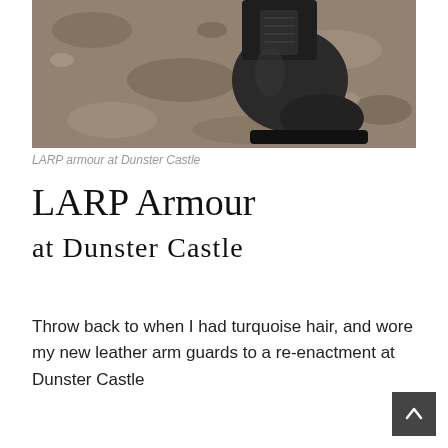[Figure (photo): A black leather boot/shoe standing on brownish-grey gravel or stone ground, photographed from above and slightly to the side. The boot has laces and a thick sole.]
LARP armour at Dunster Castle
LARP Armour at Dunster Castle
Throw back to when I had turquoise hair, and wore my new leather arm guards to a re-enactment at Dunster Castle